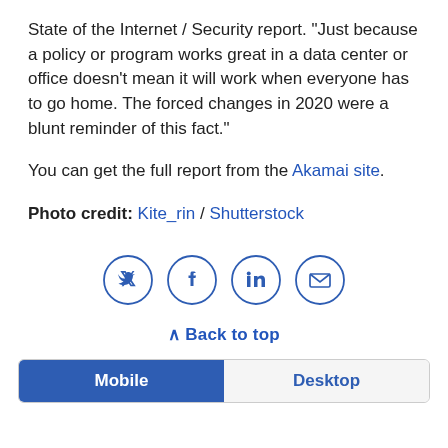State of the Internet / Security report. “Just because a policy or program works great in a data center or office doesn’t mean it will work when everyone has to go home. The forced changes in 2020 were a blunt reminder of this fact.”
You can get the full report from the Akamai site.
Photo credit: Kite_rin / Shutterstock
[Figure (infographic): Social share icons: Twitter, Facebook, LinkedIn, Email — circular outlined buttons in blue]
∧ Back to top
Mobile | Desktop tab bar